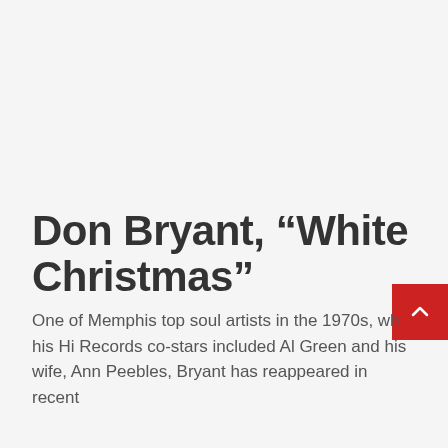Don Bryant, “White Christmas”
One of Memphis top soul artists in the 1970s, wh his Hi Records co-stars included Al Green and his wife, Ann Peebles, Bryant has reappeared in recent